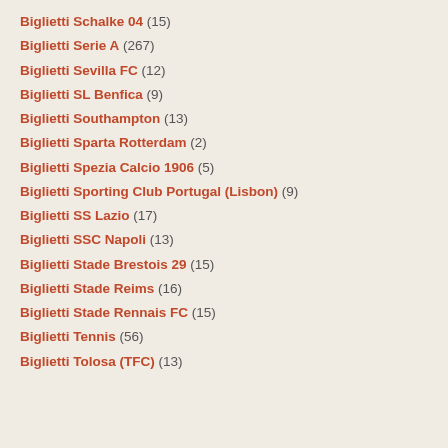Biglietti Schalke 04 (15)
Biglietti Serie A (267)
Biglietti Sevilla FC (12)
Biglietti SL Benfica (9)
Biglietti Southampton (13)
Biglietti Sparta Rotterdam (2)
Biglietti Spezia Calcio 1906 (5)
Biglietti Sporting Club Portugal (Lisbon) (9)
Biglietti SS Lazio (17)
Biglietti SSC Napoli (13)
Biglietti Stade Brestois 29 (15)
Biglietti Stade Reims (16)
Biglietti Stade Rennais FC (15)
Biglietti Tennis (56)
Biglietti Tolosa (TFC) (13)